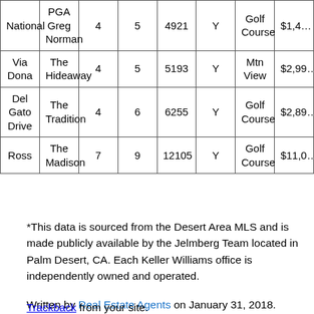| Street | Community | Beds | Baths | Sq Ft | Pool | View | Price |
| --- | --- | --- | --- | --- | --- | --- | --- |
| National | PGA Greg Norman | 4 | 5 | 4921 | Y | Golf Course | $1,4… |
| Via Dona | The Hideaway | 4 | 5 | 5193 | Y | Mtn View | $2,99… |
| Del Gato Drive | The Tradition | 4 | 6 | 6255 | Y | Golf Course | $2,89… |
| Ross | The Madison | 7 | 9 | 12105 | Y | Golf Course | $11,0… |
*This data is sourced from the Desert Area MLS and is made publicly available by the Jelmberg Team located in Palm Desert, CA. Each Keller Williams office is independently owned and operated.
Written by Real Estate Agents on January 31, 2018. Posted in La Quinta, Monthly Solds, Uncategorized
Trackback from your site.